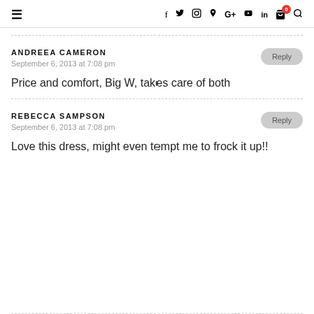≡  f  Twitter  Instagram  Pinterest  G+  YouTube  in  Cart(0)  Search
ANDREEA CAMERON
September 6, 2013 at 7:08 pm
Price and comfort, Big W, takes care of both
REBECCA SAMPSON
September 6, 2013 at 7:08 pm
Love this dress, might even tempt me to frock it up!!